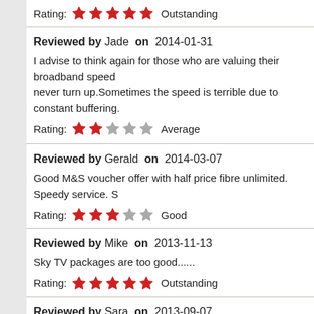Rating: ★★★★★ Outstanding
Reviewed by Jade on 2014-01-31
I advise to think again for those who are valuing their broadband speed never turn up.Sometimes the speed is terrible due to constant buffering.
Rating: ★★☆☆☆ Average
Reviewed by Gerald on 2014-03-07
Good M&S voucher offer with half price fibre unlimited. Speedy service. S
Rating: ★★★☆☆ Good
Reviewed by Mike on 2013-11-13
Sky TV packages are too good......
Rating: ★★★★★ Outstanding
Reviewed by Sara on 2013-09-07
Sky speed is pretty average ........